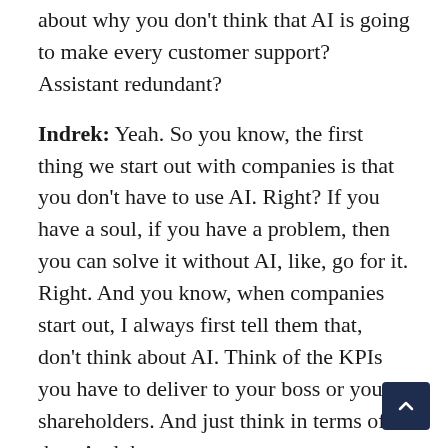about why you don't think that AI is going to make every customer support? Assistant redundant?
Indrek: Yeah. So you know, the first thing we start out with companies is that you don't have to use AI. Right? If you have a soul, if you have a problem, then you can solve it without AI, like, go for it. Right. And you know, when companies start out, I always first tell them that, don't think about AI. Think of the KPIs you have to deliver to your boss or your shareholders. And just think in terms of that. And then